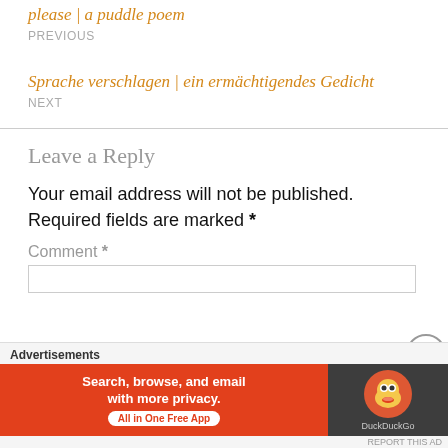please | a puddle poem
PREVIOUS
Sprache verschlagen | ein ermächtigendes Gedicht
NEXT
Leave a Reply
Your email address will not be published. Required fields are marked *
Comment *
[Figure (screenshot): DuckDuckGo advertisement banner: orange left panel with text 'Search, browse, and email with more privacy. All in One Free App', dark right panel with DuckDuckGo logo circle]
Advertisements
REPORT THIS AD